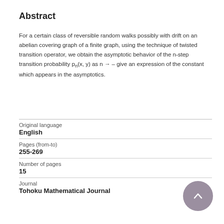Abstract
For a certain class of reversible random walks possibly with drift on an abelian covering graph of a finite graph, using the technique of twisted transition operator, we obtain the asymptotic behavior of the n-step transition probability pn(x, y) as n → – give an expression of the constant which appears in the asymptotics.
| Original language | English |
| Pages (from-to) | 255-269 |
| Number of pages | 15 |
| Journal | Tohoku Mathematical Journal |